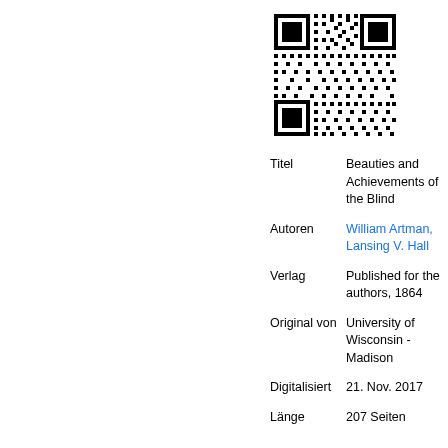[Figure (other): QR code in black and white]
| Titel | Beauties and Achievements of the Blind |
| Autoren | William Artman, Lansing V. Hall |
| Verlag | Published for the authors, 1864 |
| Original von | University of Wisconsin - Madison |
| Digitalisiert | 21. Nov. 2017 |
| Länge | 207 Seiten |